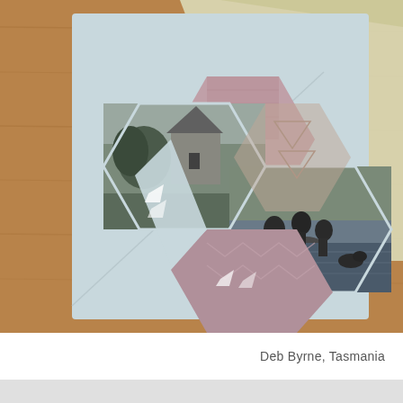[Figure (photo): A photograph showing a light blue card with a collage of black-and-white photos arranged in a hexagonal/diamond folded origami-like pattern, placed on a wooden surface with a cream-colored envelope partially visible. The collage includes images of a stone cottage with surrounding vegetation, and people sitting on rocks near water.]
Deb Byrne, Tasmania